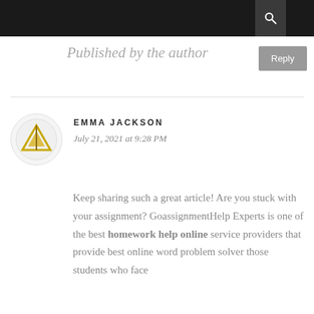Published by the author
Reply
EMMA JACKSON
July 21, 2021 at 9:28 PM
Keep sharing such a great article! Are you stuck with your assignment? GoassignmentHelp Experts is one of the best homework help online service providers that provide best online word problem solver those students who face